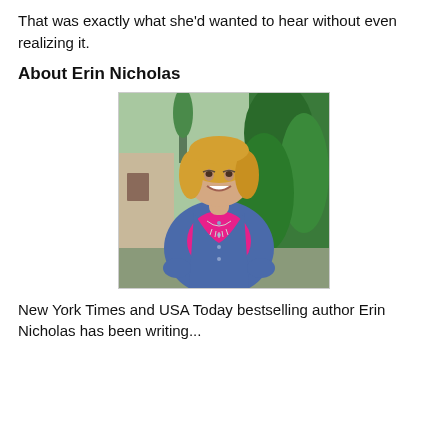That was exactly what she'd wanted to hear without even realizing it.
About Erin Nicholas
[Figure (photo): Author photo of Erin Nicholas, a woman with blonde shoulder-length hair, wearing a blue denim jacket over a bright pink top with a silver necklace, smiling outdoors with green foliage and a building in the background.]
New York Times and USA Today bestselling author Erin Nicholas has been writing...